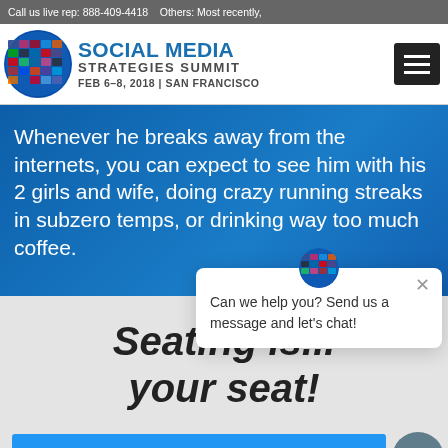Call us live rep: 888-409-4418   Others: Most recently,
[Figure (logo): Social Media Strategies Summit globe logo with social media icons, FEB 6-8, 2018 | SAN FRANCISCO]
Whenever he breaks away from the internets, you can expect to see him with his 2 girls and wife, doing crazy running streaks in subzero temps, or drinking way too much coffee.
Seating is... your seat!
Can we help you? Send us a message and let's chat!
REGISTER NOW!